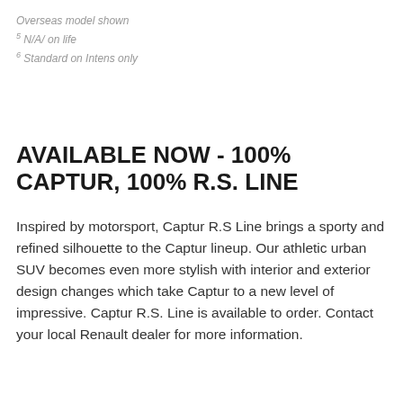Overseas model shown
5 N/A/ on life
6 Standard on Intens only
AVAILABLE NOW - 100% CAPTUR, 100% R.S. LINE
Inspired by motorsport, Captur R.S Line brings a sporty and refined silhouette to the Captur lineup. Our athletic urban SUV becomes even more stylish with interior and exterior design changes which take Captur to a new level of impressive. Captur R.S. Line is available to order. Contact your local Renault dealer for more information.